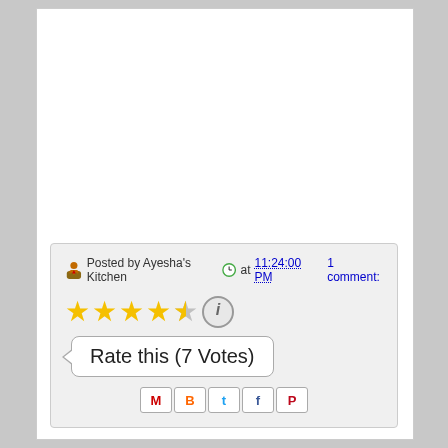Posted by Ayesha's Kitchen at 11:24:00 PM   1 comment:
[Figure (other): Five-star rating widget showing approximately 4.5 stars filled in gold/yellow, with an info circle button, and a tooltip bubble reading 'Rate this (7 Votes)']
[Figure (other): Social share icons row: Gmail (M), Blogger (B), Twitter (t), Facebook (f), Pinterest (P)]